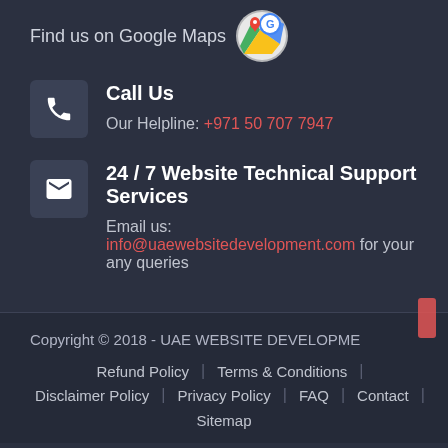Find us on Google Maps
Call Us
Our Helpline: +971 50 707 7947
24/7 Website Technical Support Services
Email us: info@uaewebsitedevelopment.com for your any queries
Copyright © 2018 - UAE WEBSITE DEVELOPME
Refund Policy | Terms & Conditions
Disclaimer Policy | Privacy Policy | FAQ | Contact
Sitemap